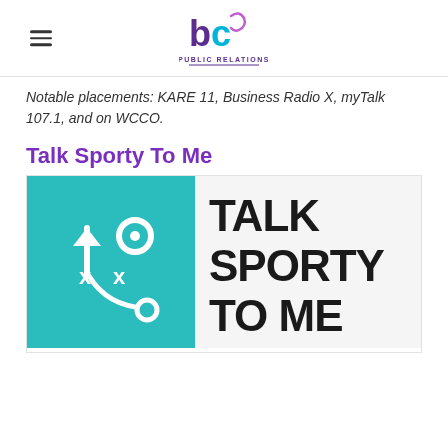BC Public Relations logo and navigation
Notable placements: KARE 11, Business Radio X, myTalk 107.1, and on WCCO.
Talk Sporty To Me
[Figure (logo): Talk Sporty To Me logo — teal speech bubble with football play diagram icon on left and bold black text 'TALK SPORTY TO ME' on right]